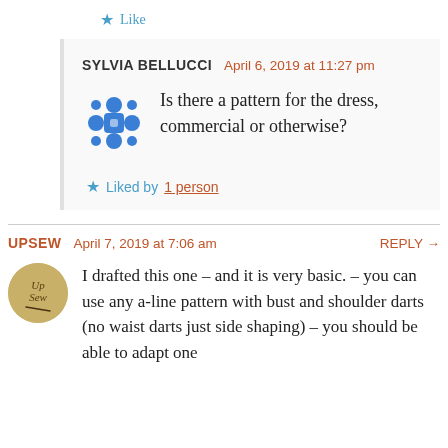Like
SYLVIA BELLUCCI   April 6, 2019 at 11:27 pm
Is there a pattern for the dress, commercial or otherwise?
Liked by 1 person
UPSEW   April 7, 2019 at 7:06 am   REPLY →
I drafted this one – and it is very basic. – you can use any a-line pattern with bust and shoulder darts (no waist darts just side shaping) – you should be able to adapt one